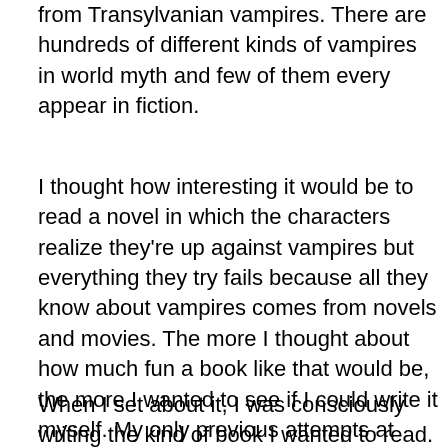from Transylvanian vampires.  There are hundreds of different kinds of vampires in world myth and few of them every appear in fiction.
I thought how interesting it would be to read a novel in which the characters realize they're up against vampires but everything they try fails because all they know about vampires comes from novels and movies.  The more I thought about how much fun a book like that would be, the more I wanted to see if I could write it myself.  My only previous attempts at fiction had been a couple of shorts stories way back when that sold to magazines that pay only in contributor copies.  But...I decided to give it a shot anyway.
When I set about it, I was consciously writing the kind of book I wanted to read.  I had no expectations of it actually